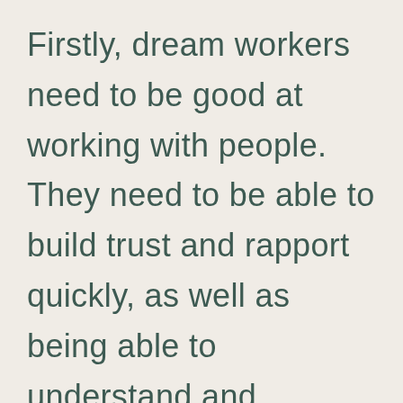Firstly, dream workers need to be good at working with people. They need to be able to build trust and rapport quickly, as well as being able to understand and empathize with their clients. Secondly, dream workers need to have a deep understanding of the symbolism and meaning of dreams. They should also be familiar with different techniques for working